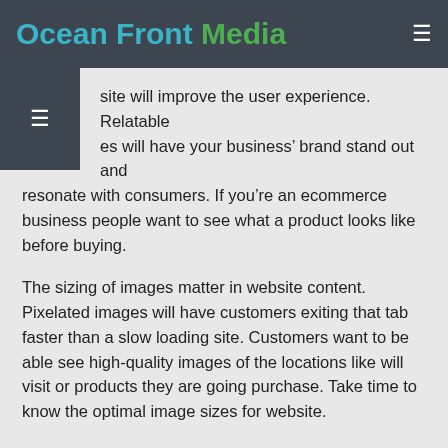Ocean Front Media
site will improve the user experience. Relatable es will have your business' brand stand out and resonate with consumers. If you're an ecommerce business people want to see what a product looks like before buying.
The sizing of images matter in website content. Pixelated images will have customers exiting that tab faster than a slow loading site. Customers want to be able see high-quality images of the locations like will visit or products they are going purchase. Take time to know the optimal image sizes for website.
Here is the optimal image sizes for website.
Large images should be no more than 1 MB.